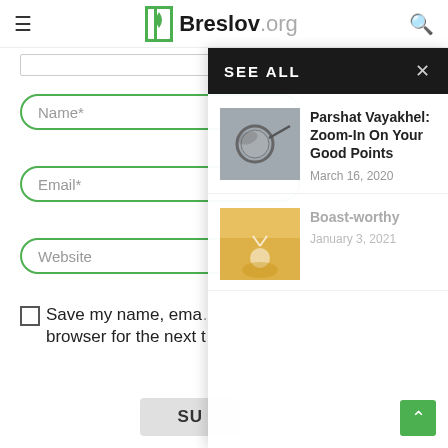Breslov.org
Name*
Email*
Website
Save my name, ema... browser for the next t
SU
SEE ALL
Parshat Vayakhel: Zoom-In On Your Good Points
March 16, 2020
[Figure (photo): Photo of glasses/magnifying lens, grayscale]
Boast-worthy
January 3, 2021
[Figure (photo): Photo with warm golden/sunshine tones, person with arms raised]